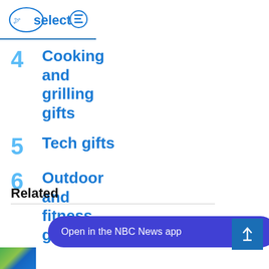NBC Select
4 Cooking and grilling gifts
5 Tech gifts
6 Outdoor and fitness gifts
Related
Open in the NBC News app